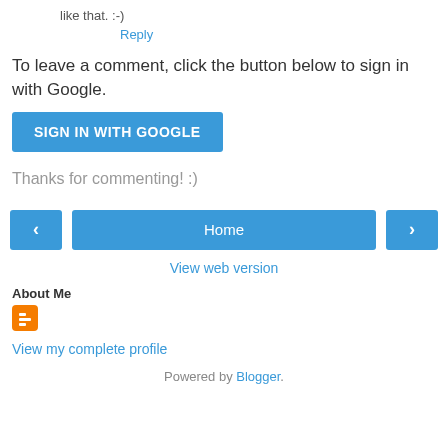like that. :-)
Reply
To leave a comment, click the button below to sign in with Google.
SIGN IN WITH GOOGLE
Thanks for commenting! :)
< Home >
View web version
About Me
[Figure (logo): Blogger orange square icon]
View my complete profile
Powered by Blogger.